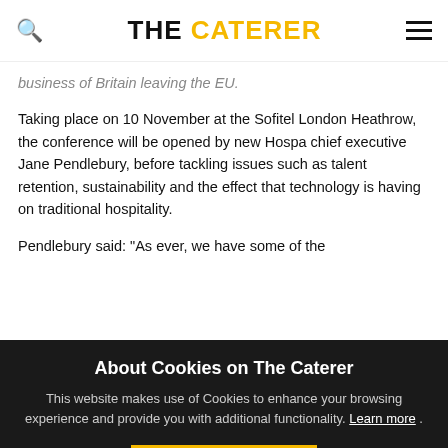THE CATERER
business of Britain leaving the EU.
Taking place on 10 November at the Sofitel London Heathrow, the conference will be opened by new Hospa chief executive Jane Pendlebury, before tackling issues such as talent retention, sustainability and the effect that technology is having on traditional hospitality.
Pendlebury said: "As ever, we have some of the
About Cookies on The Caterer
This website makes use of Cookies to enhance your browsing experience and provide you with additional functionality. Learn more .
ACCEPT